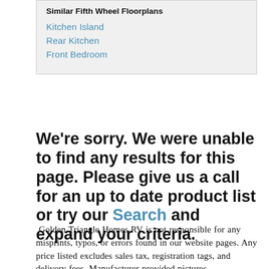Similar Fifth Wheel Floorplans
Kitchen Island
Rear Kitchen
Front Bedroom
We're sorry. We were unable to find any results for this page. Please give us a call for an up to date product list or try our Search and expand your criteria.
Golden Triangle Homes RV is not responsible for any misprints, typos, or errors found in our website pages. Any price listed excludes sales tax, registration tags, and delivery fees. Manufacturer-provided pictures, specifications and features may be used as needed. Inventory shown may be only a partial listing of the entire inventory. Please contact us at 409-769-4507 for